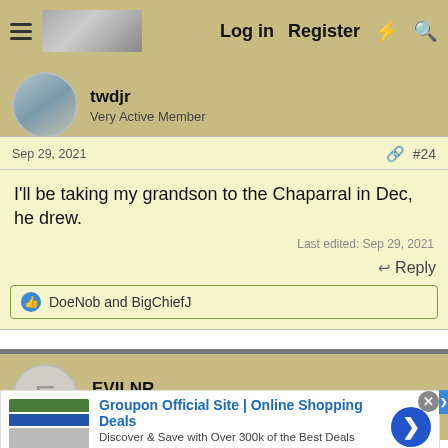Log in   Register
twdjr
Very Active Member
Sep 29, 2021   #24
I'll be taking my grandson to the Chaparral in Dec, he drew.
Last edited: Sep 29, 2021
Reply
DoeNob and BigChiefJ
EVILNR
Very Active Member
[Figure (screenshot): Groupon advertisement banner: 'Groupon Official Site | Online Shopping Deals — Discover & Save with Over 300k of the Best Deals — www.groupon.com']